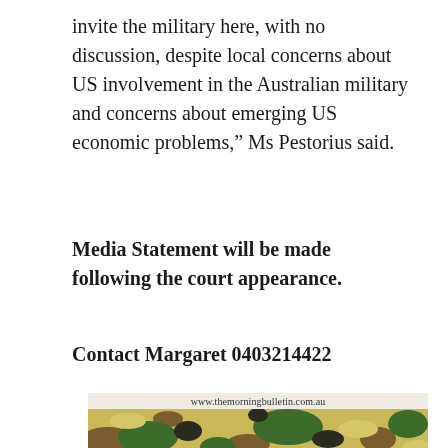invite the military here, with no discussion, despite local concerns about US involvement in the Australian military and concerns about emerging US economic problems,” Ms Pestorius said.
Media Statement will be made following the court appearance.
Contact Margaret 0403214422
[Figure (photo): A photo of military camouflage fabric pattern (green, yellow, brown, black) with a newspaper strip at the top showing the URL www.themorningbulletin.com.au]